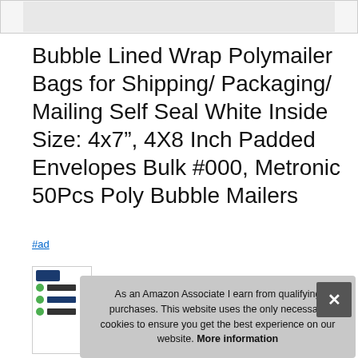[Figure (photo): Partial product image strip at top of page showing white bubble mailer bags on grey background]
Bubble Lined Wrap Polymailer Bags for Shipping/ Packaging/ Mailing Self Seal White Inside Size: 4x7", 4X8 Inch Padded Envelopes Bulk #000, Metronic 50Pcs Poly Bubble Mailers
#ad
[Figure (photo): Thumbnail image of product listing with green check icons and text bars]
As an Amazon Associate I earn from qualifying purchases. This website uses the only necessary cookies to ensure you get the best experience on our website. More information